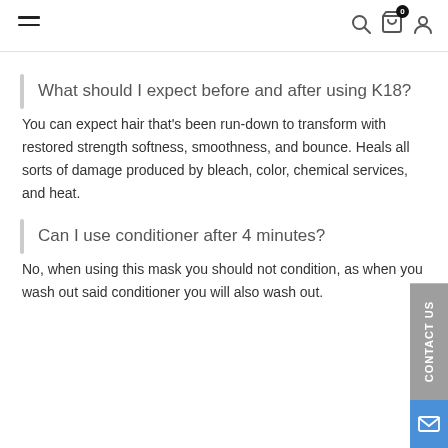Navigation bar with hamburger menu, search, cart (0), and user icons
What should I expect before and after using K18?
You can expect hair that's been run-down to transform with restored strength softness, smoothness, and bounce. Heals all sorts of damage produced by bleach, color, chemical services, and heat.
Can I use conditioner after 4 minutes?
No, when using this mask you should not condition, as when you wash out said conditioner you will also wash out.